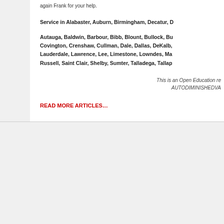again Frank for your help.
Service in Alabaster, Auburn, Birmingham, Decatur, D
Autauga, Baldwin, Barbour, Bibb, Blount, Bullock, Bu Covington, Crenshaw, Cullman, Dale, Dallas, DeKalb, Lauderdale, Lawrence, Lee, Limestone, Lowndes, Ma Russell, Saint Clair, Shelby, Sumter, Talladega, Tallap
This is an Open Education re AUTODIMINISHEDVA
READ MORE ARTICLES…